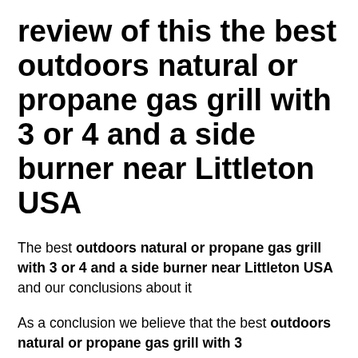review of this the best outdoors natural or propane gas grill with 3 or 4 and a side burner near Littleton USA
The best outdoors natural or propane gas grill with 3 or 4 and a side burner near Littleton USA and our conclusions about it
As a conclusion we believe that the best outdoors natural or propane gas grill with 3